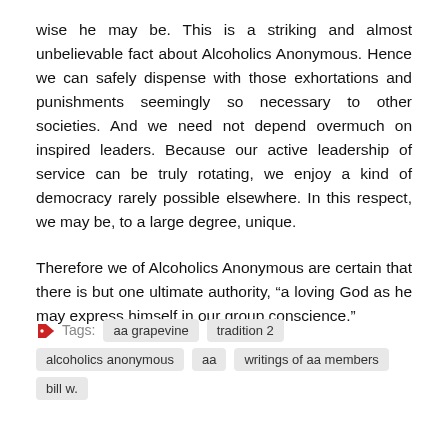wise he may be. This is a striking and almost unbelievable fact about Alcoholics Anonymous. Hence we can safely dispense with those exhortations and punishments seemingly so necessary to other societies. And we need not depend overmuch on inspired leaders. Because our active leadership of service can be truly rotating, we enjoy a kind of democracy rarely possible elsewhere. In this respect, we may be, to a large degree, unique.
Therefore we of Alcoholics Anonymous are certain that there is but one ultimate authority, “a loving God as he may express himself in our group conscience.”
Tags: aa grapevine  tradition 2  alcoholics anonymous  aa  writings of aa members  bill w.